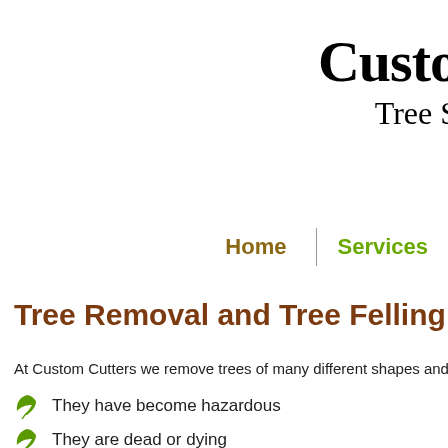Custom Cutters Tree S
Home | Services
Tree Removal and Tree Felling in Lon
At Custom Cutters we remove trees of many different shapes and sizes. Trees have to
They have become hazardous
They are dead or dying